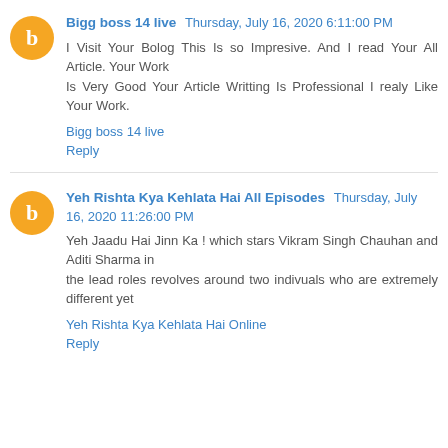Bigg boss 14 live  Thursday, July 16, 2020 6:11:00 PM
I Visit Your Bolog This Is so Impresive. And I read Your All Article. Your Work Is Very Good Your Article Writting Is Professional I realy Like Your Work.
Bigg boss 14 live
Reply
Yeh Rishta Kya Kehlata Hai All Episodes  Thursday, July 16, 2020 11:26:00 PM
Yeh Jaadu Hai Jinn Ka ! which stars Vikram Singh Chauhan and Aditi Sharma in the lead roles revolves around two indivuals who are extremely different yet
Yeh Rishta Kya Kehlata Hai Online
Reply